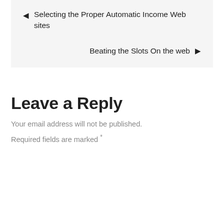← Selecting the Proper Automatic Income Web sites
Beating the Slots On the web →
Leave a Reply
Your email address will not be published.
Required fields are marked *